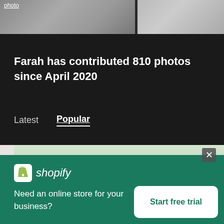[Figure (photo): Top section showing partial photos with 'photo' link visible at top-left]
Farah has contributed 810 photos since April 2020
Latest   Popular
[Figure (photo): Photo strip showing branches with leaves against sky]
[Figure (logo): Shopify logo with shopping bag icon and italic wordmark]
Need an online store for your business?
Start free trial